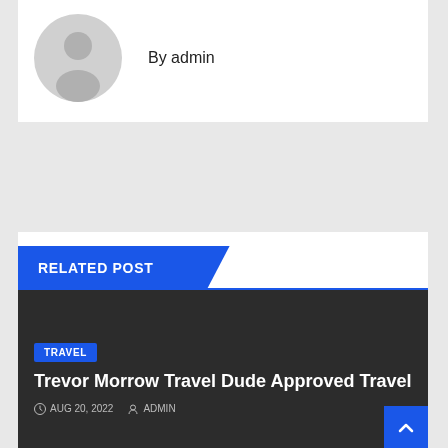[Figure (illustration): Gray circular avatar placeholder with a silhouette of a person]
By admin
RELATED POST
[Figure (screenshot): Dark article card with a TRAVEL category tag and article title Trevor Morrow Travel Dude Approved Travel]
Trevor Morrow Travel Dude Approved Travel
AUG 20, 2022   ADMIN